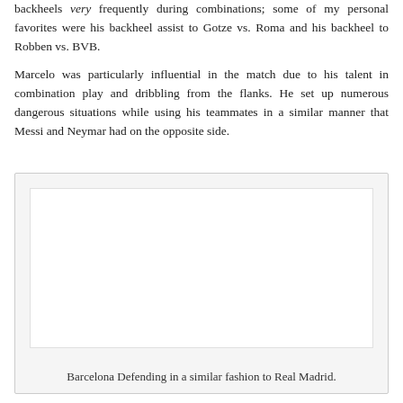backheels very frequently during combinations; some of my personal favorites were his backheel assist to Gotze vs. Roma and his backheel to Robben vs. BVB.
Marcelo was particularly influential in the match due to his talent in combination play and dribbling from the flanks. He set up numerous dangerous situations while using his teammates in a similar manner that Messi and Neymar had on the opposite side.
[Figure (photo): A photograph showing Barcelona defending in a similar fashion to Real Madrid, presented in a light gray bordered box.]
Barcelona Defending in a similar fashion to Real Madrid.